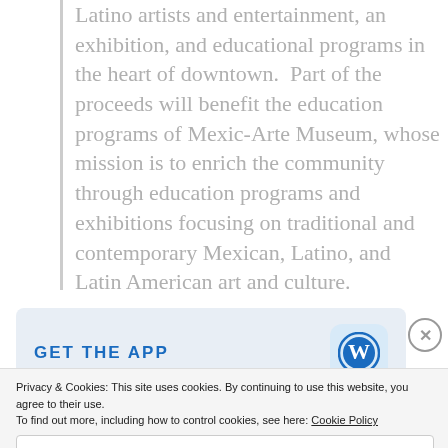Latino artists and entertainment, an exhibition, and educational programs in the heart of downtown. Part of the proceeds will benefit the education programs of Mexic-Arte Museum, whose mission is to enrich the community through education programs and exhibitions focusing on traditional and contemporary Mexican, Latino, and Latin American art and culture.
[Figure (screenshot): GET THE APP button area with WordPress logo icon on light blue background]
Privacy & Cookies: This site uses cookies. By continuing to use this website, you agree to their use.
To find out more, including how to control cookies, see here: Cookie Policy
Close and accept